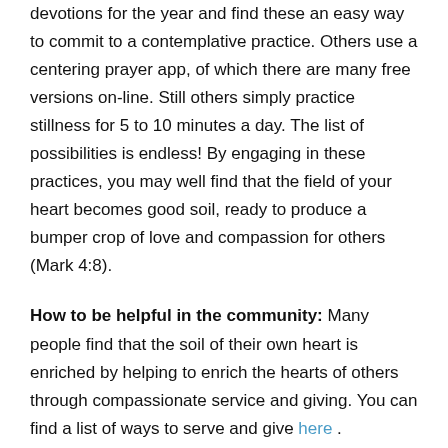devotions for the year and find these an easy way to commit to a contemplative practice. Others use a centering prayer app, of which there are many free versions on-line. Still others simply practice stillness for 5 to 10 minutes a day. The list of possibilities is endless! By engaging in these practices, you may well find that the field of your heart becomes good soil, ready to produce a bumper crop of love and compassion for others (Mark 4:8).
How to be helpful in the community: Many people find that the soil of their own heart is enriched by helping to enrich the hearts of others through compassionate service and giving. You can find a list of ways to serve and give here .